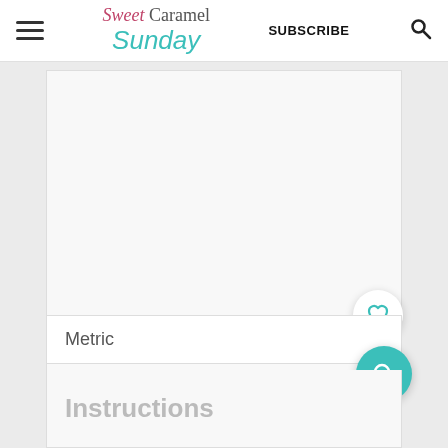Sweet Caramel Sunday | SUBSCRIBE
[Figure (screenshot): Gray placeholder content area with Metric tab bar and 406 like count with heart button and teal search button]
Metric
Instructions